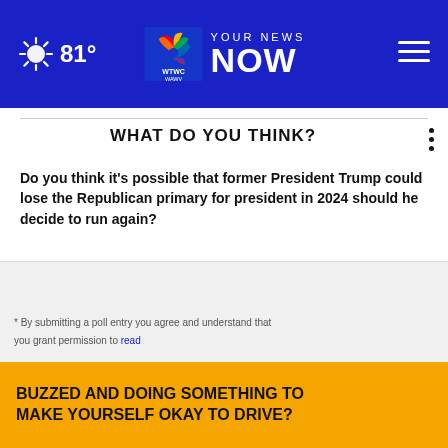81° YOUR NEWS NOW
WHAT DO YOU THINK?
Do you think it's possible that former President Trump could lose the Republican primary for president in 2024 should he decide to run again?
Yes, I think so
Maybe, I'm not sure
No, I don't think so
Other / No opinion
NEXT *
BUZZED AND DOING SOMETHING TO MAKE YOURSELF OKAY TO DRIVE?